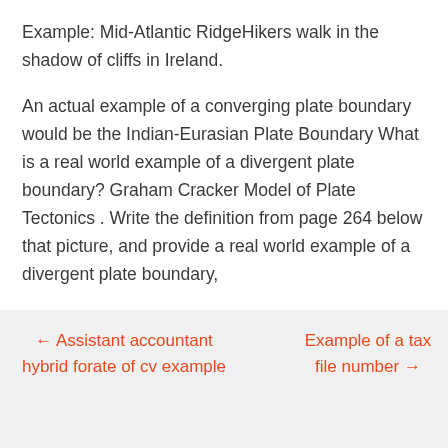Example: Mid-Atlantic RidgeHikers walk in the shadow of cliffs in Ireland.
An actual example of a converging plate boundary would be the Indian-Eurasian Plate Boundary What is a real world example of a divergent plate boundary? Graham Cracker Model of Plate Tectonics . Write the definition from page 264 below that picture, and provide a real world example of a divergent plate boundary,
← Assistant accountant hybrid forate of cv example
Example of a tax file number →